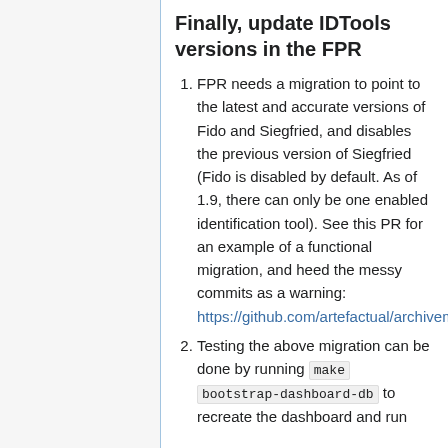Finally, update IDTools versions in the FPR
FPR needs a migration to point to the latest and accurate versions of Fido and Siegfried, and disables the previous version of Siegfried (Fido is disabled by default. As of 1.9, there can only be one enabled identification tool). See this PR for an example of a functional migration, and heed the messy commits as a warning: https://github.com/artefactual/archivematica/pull/1547/files
Testing the above migration can be done by running make bootstrap-dashboard-db to recreate the dashboard and run